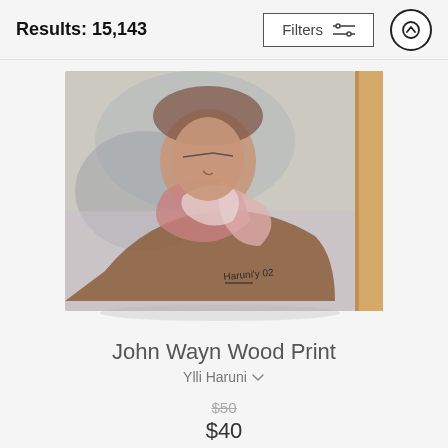Results: 15,143
Filters
[Figure (photo): A wood print product image of a pastel/chalk portrait painting of John Wayne wearing a pink neckerchief and cowboy attire, with artist signature 'Haruni 02' in the lower right, mounted on a light wood panel with visible wooden edge on the right side.]
John Wayn Wood Print
Ylli Haruni
$50
$40